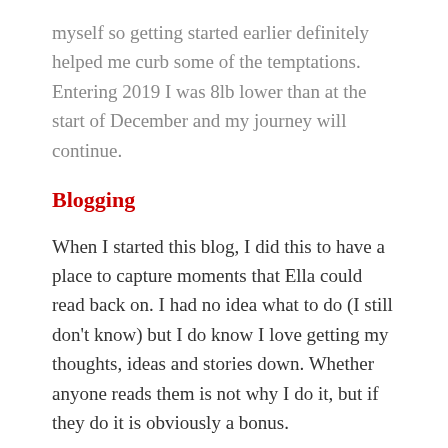myself so getting started earlier definitely helped me curb some of the temptations.  Entering 2019 I was 8lb lower than at the start of December and my journey will continue.
Blogging
When I started this blog, I did this to have a place to capture moments that Ella could read back on.  I had no idea what to do (I still don't know) but I do know I love getting my thoughts, ideas and stories down.  Whether anyone reads them is not why I do it, but if they do it is obviously a bonus.
I have started to read and follow many more blogs ( something I never did before) and I am in awe of the content they produce.  No wonder their followings are so